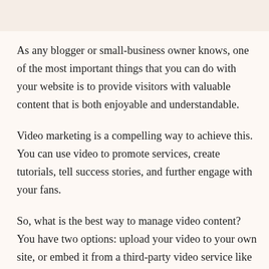As any blogger or small-business owner knows, one of the most important things that you can do with your website is to provide visitors with valuable content that is both enjoyable and understandable.
Video marketing is a compelling way to achieve this. You can use video to promote services, create tutorials, tell success stories, and further engage with your fans.
So, what is the best way to manage video content? You have two options: upload your video to your own site, or embed it from a third-party video service like YouTube or